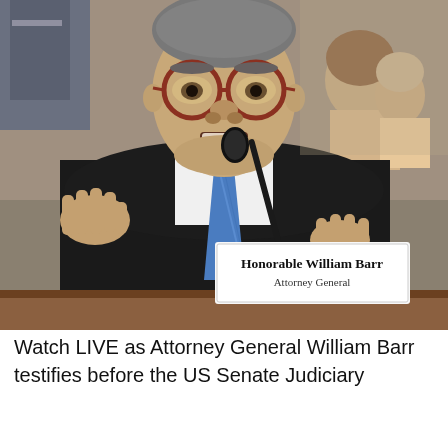[Figure (photo): Attorney General William Barr seated at a hearing table with a nameplate reading 'Honorable William Barr, Attorney General', gesturing with both hands while speaking into a microphone before the US Senate Judiciary Committee. He wears a dark suit, white shirt, and blue tie, with round glasses. Audience members and a uniformed officer are visible in the background.]
Watch LIVE as Attorney General William Barr testifies before the US Senate Judiciary Committee...